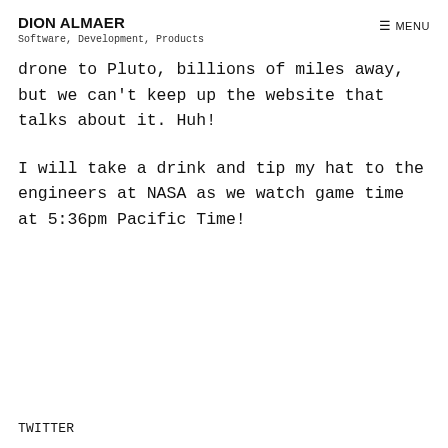DION ALMAER
Software, Development, Products
drone to Pluto, billions of miles away, but we can't keep up the website that talks about it. Huh!
I will take a drink and tip my hat to the engineers at NASA as we watch game time at 5:36pm Pacific Time!
TWITTER